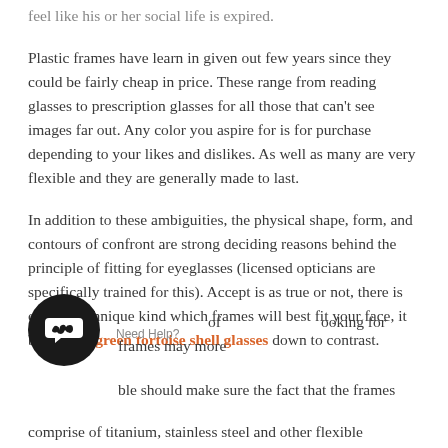feel like his or her social life is expired.
Plastic frames have learn in given out few years since they could be fairly cheap in price. These range from reading glasses to prescription glasses for all those that can't see images far out. Any color you aspire for is for purchase depending to your likes and dislikes. As well as many are very flexible and they are generally made to last.
In addition to these ambiguities, the physical shape, form, and contours of confront are strong deciding reasons behind the principle of fitting for eyeglasses (licensed opticians are specifically trained for this). Accept is as true or not, there is often a technique kind which frames will best fit your face, it boils right green tortoise shell glasses down to contrast.
of ooking for frames may more ble should make sure the fact that the frames comprise of titanium, stainless steel and other flexible